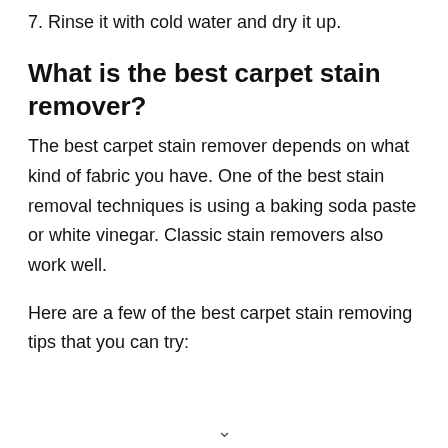7. Rinse it with cold water and dry it up.
What is the best carpet stain remover?
The best carpet stain remover depends on what kind of fabric you have. One of the best stain removal techniques is using a baking soda paste or white vinegar. Classic stain removers also work well.
Here are a few of the best carpet stain removing tips that you can try: